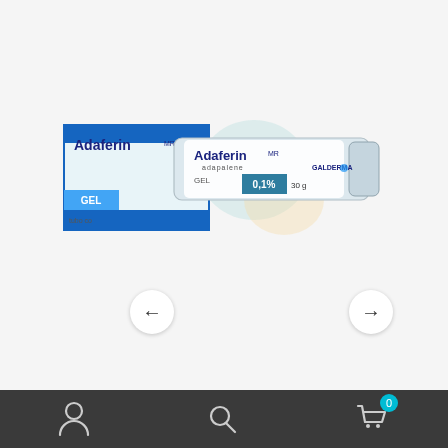[Figure (photo): Adaferin GEL 0.1% 30g product photo showing the tube and box. Brand: Galderma. Active ingredient: adapalene.]
Acne
[Figure (screenshot): Mobile app bottom navigation bar with person icon (account), search/magnifier icon, and shopping cart icon with badge showing 0]